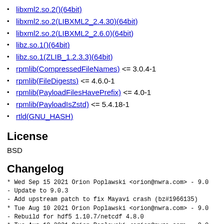libxml2.so.2()(64bit)
libxml2.so.2(LIBXML2_2.4.30)(64bit)
libxml2.so.2(LIBXML2_2.6.0)(64bit)
libz.so.1()(64bit)
libz.so.1(ZLIB_1.2.3.3)(64bit)
rpmlib(CompressedFileNames) <= 3.0.4-1
rpmlib(FileDigests) <= 4.6.0-1
rpmlib(PayloadFilesHavePrefix) <= 4.0-1
rpmlib(PayloadIsZstd) <= 5.4.18-1
rtld(GNU_HASH)
License
BSD
Changelog
* Wed Sep 15 2021 Orion Poplawski <orion@nwra.com> - 9.0
  - Update to 9.0.3
  - Add upstream patch to fix Mayavi crash (bz#1966135)
* Tue Aug 10 2021 Orion Poplawski <orion@nwra.com> - 9.0
  - Rebuild for hdf5 1.10.7/netcdf 4.8.0
* Tue Aug 10 2021 Orion Poplawski <orion@nwra.com> - 9.0
  - More rpath cleanup
* Sat Aug 07 2021 Jonathan Wakely <jwakely@redhat.com> -
  - Rebuilt for Boost 1.76
* Fri Jul 23 2021 Fedora Release Engineering <releng@fed